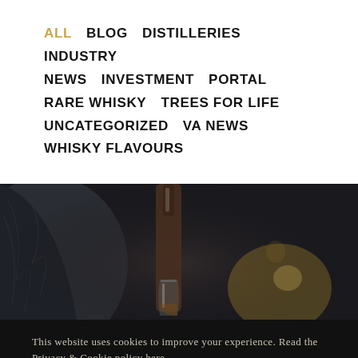ALL  BLOG  DISTILLERIES  INDUSTRY NEWS  INVESTMENT  PORTAL  RARE WHISKY  TREES FOR LIFE  UNCATEGORIZED  VA NEWS  WHISKY FLAVOURS
[Figure (photo): Dark moody photo of whisky bottles and a glass shot against a dark background]
This website uses cookies to improve your experience. Read the Privacy & Cookie policy here
YES, I ACCEPT THE COOKIES